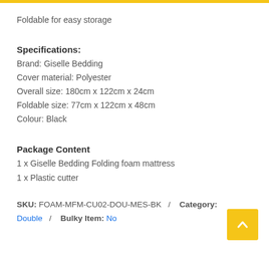Foldable for easy storage
Specifications:
Brand: Giselle Bedding
Cover material: Polyester
Overall size: 180cm x 122cm x 24cm
Foldable size: 77cm x 122cm x 48cm
Colour: Black
Package Content
1 x Giselle Bedding Folding foam mattress
1 x Plastic cutter
SKU: FOAM-MFM-CU02-DOU-MES-BK / Category: Double / Bulky Item: No